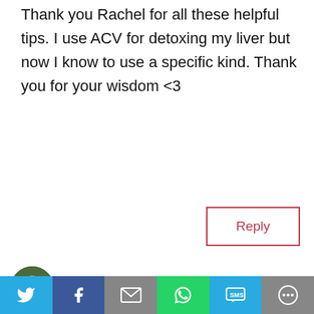Thank you Rachel for all these helpful tips. I use ACV for detoxing my liver but now I know to use a specific kind. Thank you for your wisdom <3
Reply
CK Kochis on April 12, 2019 at 9:08 pm
Rachel, these are wonderful tips and insights. ACV is one of those kitchen ingredients that’s so versatile and good for us. Thanks for always inspiring me to be good to my precious body.